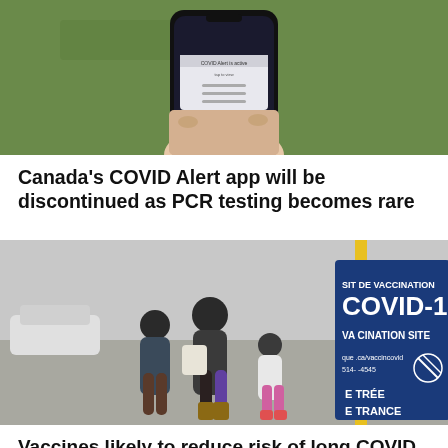[Figure (photo): A hand holding a smartphone displaying 'COVID Alert is active' screen against a green background.]
Canada's COVID Alert app will be discontinued as PCR testing becomes rare
[Figure (photo): A family walking toward a COVID-19 vaccination site sign showing 'SITE DE VACCINATION COVID-19 VACCINATION SITE ENTRÉE ENTRANCE'.]
Vaccines likely to reduce risk of long COVID, experts say, but by how much?